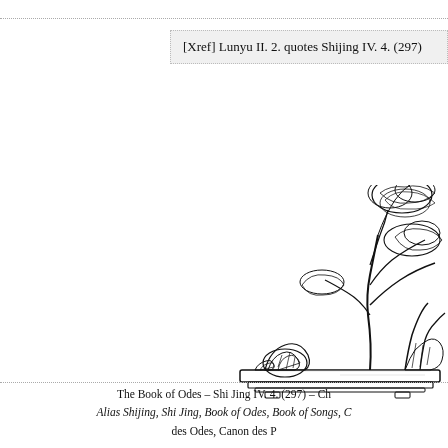[Xref] Lunyu II. 2. quotes Shijing IV. 4. (297)
[Figure (illustration): Black and white line illustration of a Chinese bonsai or scholar's rock garden scene in a tray, with trees and rock formations, viewed from a slight angle.]
The Book of Odes – Shi Jing IV. 4. (297) – Ch
Alias Shijing, Shi Jing, Book of Odes, Book of Songs, C
des Odes, Canon des P